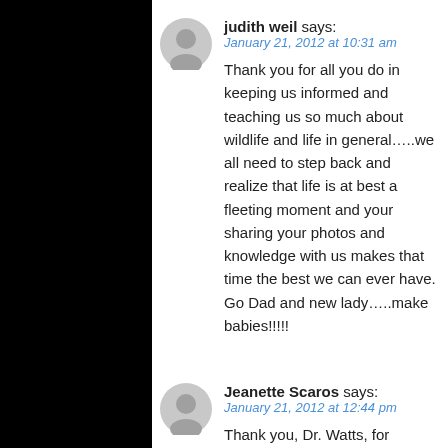judith weil says:
January 21, 2012 at 10:31 am
Thank you for all you do in keeping us informed and teaching us so much about wildlife and life in general…..we all need to step back and realize that life is at best a fleeting moment and your sharing your photos and knowledge with us makes that time the best we can ever have. Go Dad and new lady…..make babies!!!!!
Jeanette Scaros says:
January 21, 2012 at 12:44 pm
Thank you, Dr. Watts, for studying and explaining the